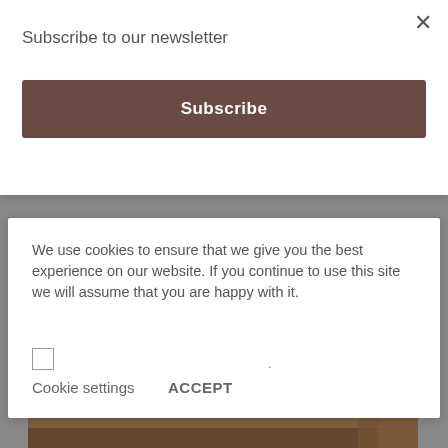[Figure (photo): Background photo of bread dusted with powdered sugar on a wooden surface, partially visible behind overlaid dialog boxes]
Bread
Subscribe to our newsletter
Subscribe
We use cookies to ensure that we give you the best experience on our website. If you continue to use this site we will assume that you are happy with it.
Cookie settings
ACCEPT